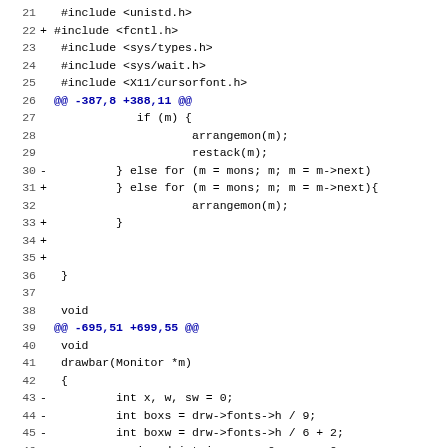Code diff showing lines 21-50 of a C source file, including #include directives, hunk headers, and function definitions for drawbar(Monitor *m)